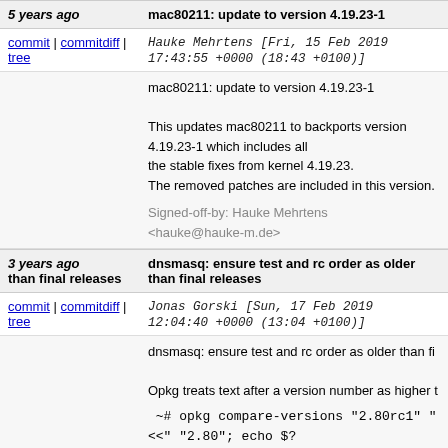5 years ago | mac80211: update to version 4.19.23-1
commit | commitdiff | tree   Hauke Mehrtens [Fri, 15 Feb 2019 17:43:55 +0000 (18:43 +0100)]
mac80211: update to version 4.19.23-1

This updates mac80211 to backports version 4.19.23-1 which includes all the stable fixes from kernel 4.19.23.
The removed patches are included in this version.

Signed-off-by: Hauke Mehrtens <hauke@hauke-m.de>
3 years ago | dnsmasq: ensure test and rc order as older than final releases
commit | commitdiff | tree   Jonas Gorski [Sun, 17 Feb 2019 12:04:40 +0000 (13:04 +0100)]
dnsmasq: ensure test and rc order as older than fi

Opkg treats text after a version number as higher t

 ~# opkg compare-versions "2.80rc1" "<<" "2.80"; echo $?
1
 ~# opkg compare-versions "2.80rc1" ">>" "2.80"; echo $?
0